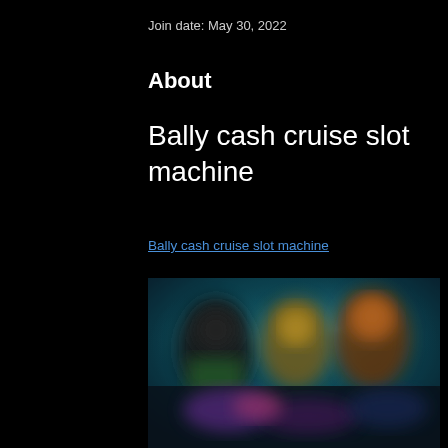Join date: May 30, 2022
About
Bally cash cruise slot machine
Bally cash cruise slot machine
[Figure (photo): Blurred screenshot of a slot machine game featuring cartoon-style animated characters on a colorful background with teal, yellow, and dark tones.]